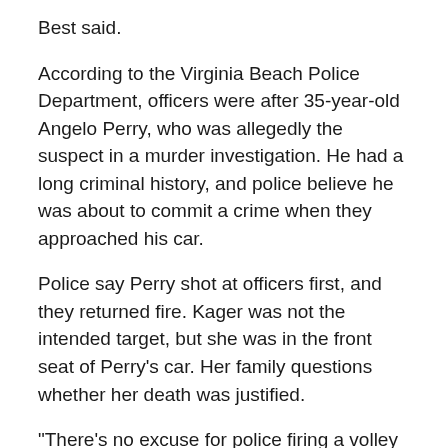Best said.
According to the Virginia Beach Police Department, officers were after 35-year-old Angelo Perry, who was allegedly the suspect in a murder investigation. He had a long criminal history, and police believe he was about to commit a crime when they approached his car.
Police say Perry shot at officers first, and they returned fire. Kager was not the intended target, but she was in the front seat of Perry's car. Her family questions whether her death was justified.
"There's no excuse for police firing a volley of 30 rounds of indiscriminate gunfire, and my sister was hit multiple times," said Brandon Bailey, the victim's brother.